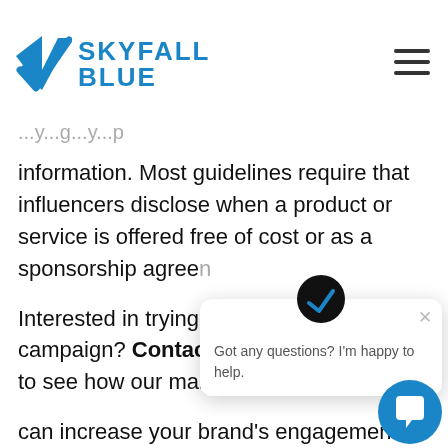Skyfall Blue
...y...g...y...p information. Most guidelines require that influencers disclose when a product or service is offered free of cost or as a sponsorship agreement...
Interested in trying... for your next campaign? Contact Skyfall Blue today to see how our marketing t... can increase your brand's engagement.
[Figure (screenshot): Chat widget overlay showing Skyfall Blue logo circle and message: Got any questions? I'm happy to help.]